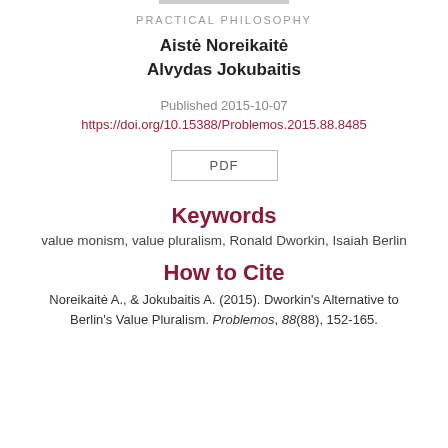PRACTICAL PHILOSOPHY
Aistė Noreikaitė
Alvydas Jokubaitis
Published 2015-10-07
https://doi.org/10.15388/Problemos.2015.88.8485
PDF
Keywords
value monism, value pluralism, Ronald Dworkin, Isaiah Berlin
How to Cite
Noreikaitė A., & Jokubaitis A. (2015). Dworkin's Alternative to Berlin's Value Pluralism. Problemos, 88(88), 152-165.